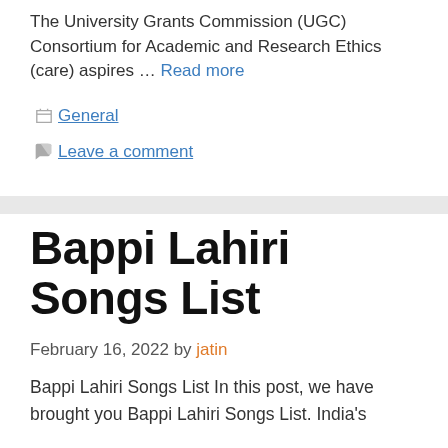The University Grants Commission (UGC) Consortium for Academic and Research Ethics (care) aspires … Read more
General
Leave a comment
Bappi Lahiri Songs List
February 16, 2022 by jatin
Bappi Lahiri Songs List In this post, we have brought you Bappi Lahiri Songs List. India's